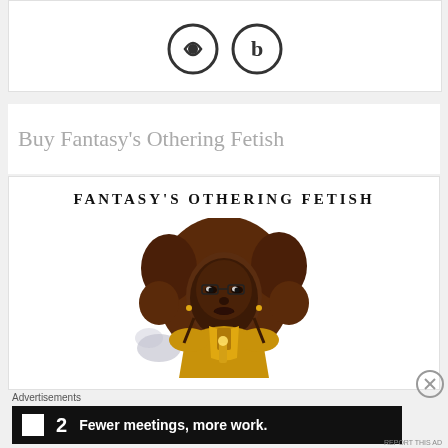[Figure (illustration): Partial view of two circular icons/logos at top of page, partially cropped]
Buy Fantasy's Othering Fetish
[Figure (illustration): Book cover image for 'Fantasy's Othering Fetish' showing an illustrated Black woman with natural hair wearing a golden outfit, holding an object, with text 'FANTASY'S OTHERING FETISH' at top]
Advertisements
[Figure (infographic): Advertisement banner: dark background with a white square logo, '2' in large white text, and bold white text reading 'Fewer meetings, more work.']